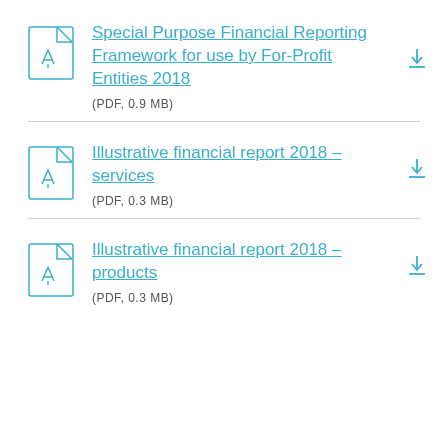Special Purpose Financial Reporting Framework for use by For-Profit Entities 2018 (PDF, 0.9 MB)
Illustrative financial report 2018 – services (PDF, 0.3 MB)
Illustrative financial report 2018 – products (PDF, 0.3 MB)